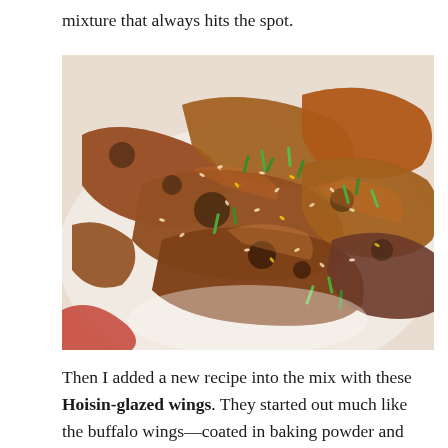mixture that always hits the spot.
[Figure (photo): Close-up photo of hoisin-glazed chicken wings piled on a white plate, coated in a dark sticky glaze, sprinkled with sesame seeds and sliced green onions.]
Then I added a new recipe into the mix with these Hoisin-glazed wings. They started out much like the buffalo wings—coated in baking powder and cooked